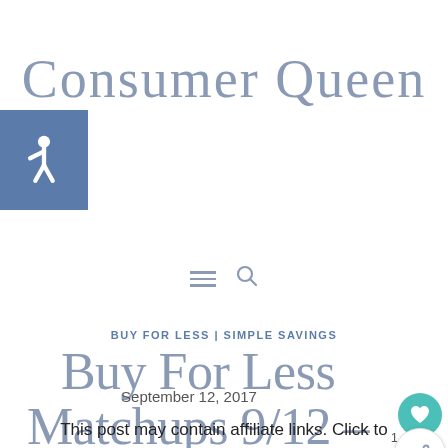[Figure (logo): Consumer Queen cursive script logo in muted blue-grey color]
[Figure (infographic): Hamburger menu icon and search/magnifying glass icon in muted blue-grey]
BUY FOR LESS | SIMPLE SAVINGS
Buy For Less Matchups 9/12 – 9/18
September 12, 2017
This post may contain affiliate links. Click to